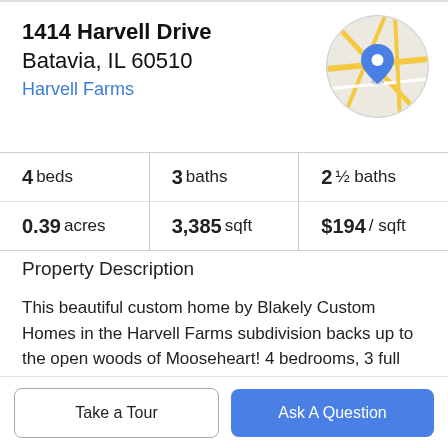1414 Harvell Drive
Batavia, IL 60510
Harvell Farms
[Figure (map): Circular map thumbnail showing street map with a blue location pin marker.]
| 4 beds | 3 baths | 2 ½ baths |
| 0.39 acres | 3,385 sqft | $194 / sqft |
Property Description
This beautiful custom home by Blakely Custom Homes in the Harvell Farms subdivision backs up to the open woods of Mooseheart! 4 bedrooms, 3 full baths, 2 half baths, 1st floor office, 3-car garage, and a full finished look out basement. Two story foyer leads to separate living and
Take a Tour
Ask A Question